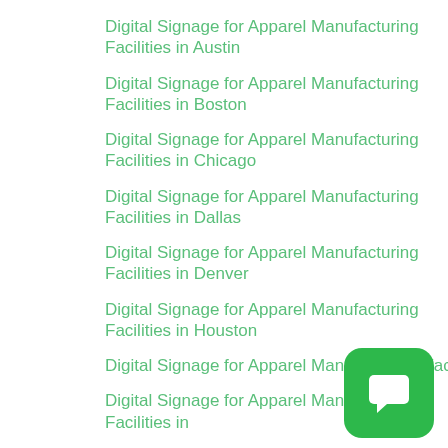Digital Signage for Apparel Manufacturing Facilities in Austin
Digital Signage for Apparel Manufacturing Facilities in Boston
Digital Signage for Apparel Manufacturing Facilities in Chicago
Digital Signage for Apparel Manufacturing Facilities in Dallas
Digital Signage for Apparel Manufacturing Facilities in Denver
Digital Signage for Apparel Manufacturing Facilities in Houston
Digital Signage for Apparel Manufacturing Facilities in Jacksonville
Digital Signage for Apparel Manufacturing Facilities in ...